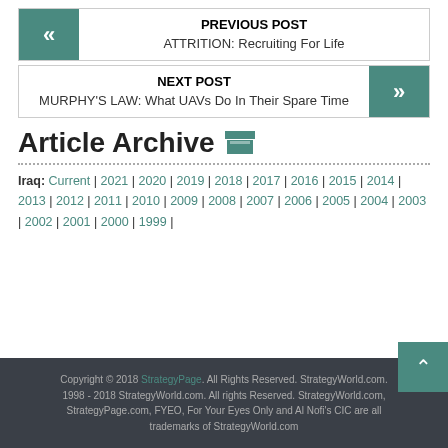PREVIOUS POST — ATTRITION: Recruiting For Life
NEXT POST — MURPHY'S LAW: What UAVs Do In Their Spare Time
Article Archive
Iraq: Current | 2021 | 2020 | 2019 | 2018 | 2017 | 2016 | 2015 | 2014 | 2013 | 2012 | 2011 | 2010 | 2009 | 2008 | 2007 | 2006 | 2005 | 2004 | 2003 | 2002 | 2001 | 2000 | 1999 |
Copyright © 2018 StrategyPage. All Rights Reserved. StrategyWorld.com. 1998 - 2018 StrategyWorld.com. All rights Reserved. StrategyWorld.com, StrategyPage.com, FYEO, For Your Eyes Only and Al Nofi's CIC are all trademarks of StrategyWorld.com